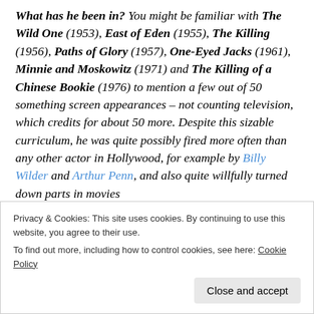What has he been in? You might be familiar with The Wild One (1953), East of Eden (1955), The Killing (1956), Paths of Glory (1957), One-Eyed Jacks (1961), Minnie and Moskowitz (1971) and The Killing of a Chinese Bookie (1976) to mention a few out of 50 something screen appearances – not counting television, which credits for about 50 more. Despite this sizable curriculum, he was quite possibly fired more often than any other actor in Hollywood, for example by Billy Wilder and Arthur Penn, and also quite willfully turned down parts in movies
Privacy & Cookies: This site uses cookies. By continuing to use this website, you agree to their use.
To find out more, including how to control cookies, see here: Cookie Policy